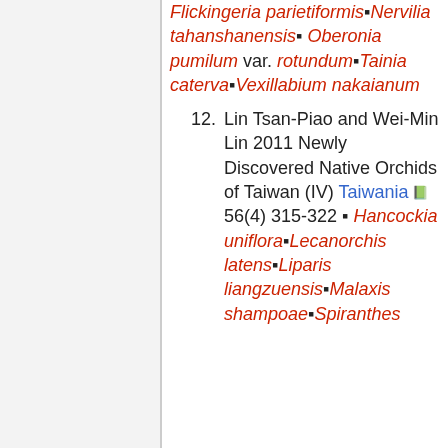Flickingeria parietiformis · Nervilia tahanshanensis · Oberonia pumilum var. rotundum · Tainia caterva · Vexillabium nakaianum
12. Lin Tsan-Piao and Wei-Min Lin 2011 Newly Discovered Native Orchids of Taiwan (IV) Taiwania 56(4) 315-322 · Hancockia uniflora · Lecanorchis latens · Liparis liangzuensis · Malaxis shampoae · Spiranthes